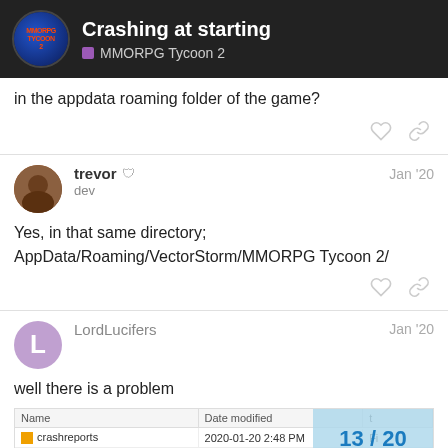Crashing at starting — MMORPG Tycoon 2
in the appdata roaming folder of the game?
trevor  Jan '20
dev
Yes, in that same directory;
AppData/Roaming/VectorStorm/MMORPG Tycoon 2/
LordLucifers  Jan '20
well there is a problem
[Figure (screenshot): File explorer screenshot showing crashreports (2020-01-20 2:48 PM) and save (2020-01-20 2:47 PM) folders with a pagination overlay showing 13/20]